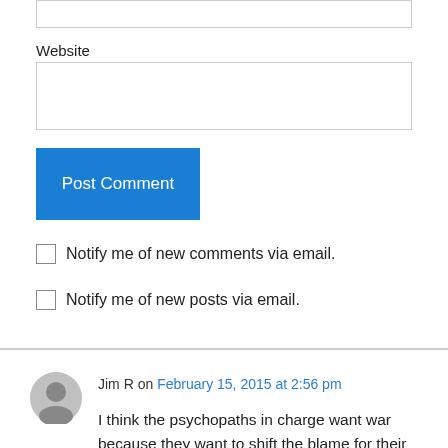[Figure (screenshot): Empty text input box at top of page]
Website
[Figure (screenshot): Empty website URL input box]
[Figure (screenshot): Blue 'Post Comment' button]
Notify me of new comments via email.
Notify me of new posts via email.
Jim R on February 15, 2015 at 2:56 pm
I think the psychopaths in charge want war because they want to shift the blame for their own failings to somewhere else…